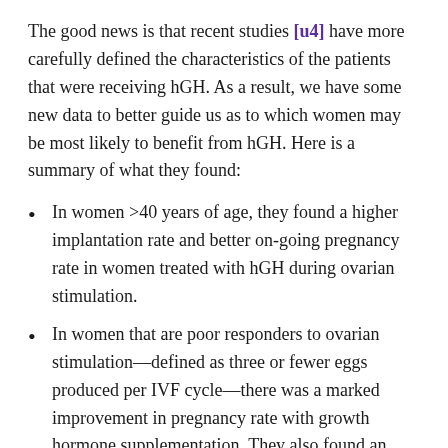The good news is that recent studies [u4] have more carefully defined the characteristics of the patients that were receiving hGH. As a result, we have some new data to better guide us as to which women may be most likely to benefit from hGH. Here is a summary of what they found:
In women >40 years of age, they found a higher implantation rate and better on-going pregnancy rate in women treated with hGH during ovarian stimulation.
In women that are poor responders to ovarian stimulation—defined as three or fewer eggs produced per IVF cycle—there was a marked improvement in pregnancy rate with growth hormone supplementation. They also found an improved outcome in FET cycles from embryos created during these cycles.